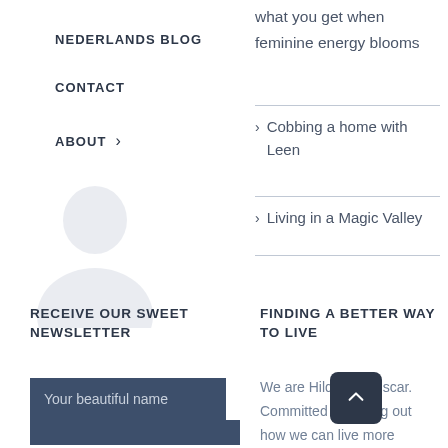NEDERLANDS BLOG
CONTACT
ABOUT >
[Figure (illustration): Gray silhouette of a person (avatar/profile icon)]
what you get when feminine energy blooms
> Cobbing a home with Leen
> Living in a Magic Valley
RECEIVE OUR SWEET NEWSLETTER
FINDING A BETTER WAY TO LIVE
Your beautiful name
We are Hilde and Oscar. Committed to finding out how we can live more